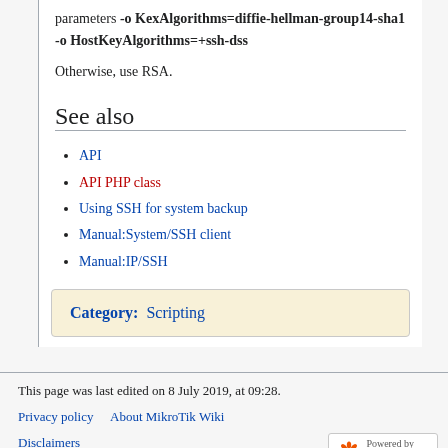parameters -o KexAlgorithms=diffie-hellman-group14-sha1 -o HostKeyAlgorithms=+ssh-dss
Otherwise, use RSA.
See also
API
API PHP class
Using SSH for system backup
Manual:System/SSH client
Manual:IP/SSH
Category: Scripting
This page was last edited on 8 July 2019, at 09:28.
Privacy policy   About MikroTik Wiki
Disclaimers